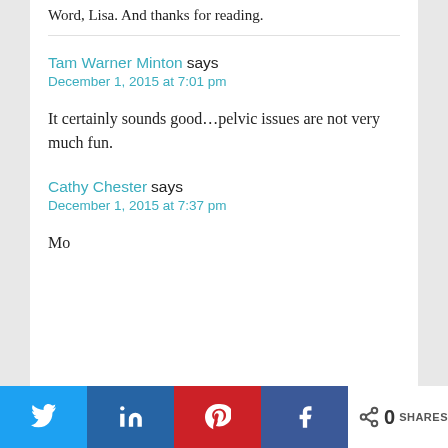Word, Lisa. And thanks for reading.
Tam Warner Minton says
December 1, 2015 at 7:01 pm
It certainly sounds good…pelvic issues are not very much fun.
Cathy Chester says
December 1, 2015 at 7:37 pm
Mo...
Twitter | in | Pinterest | Facebook | 0 SHARES